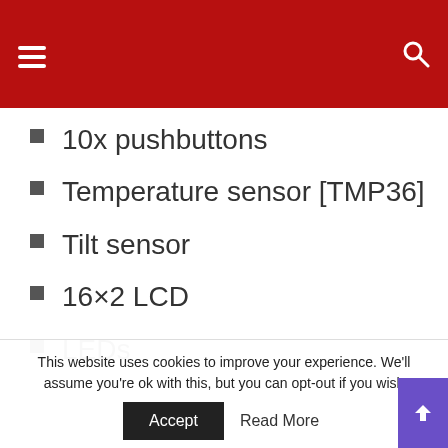10x pushbuttons
Temperature sensor [TMP36]
Tilt sensor
16×2 LCD
LEDs
DC motor
Servo motor
Piezo...
This website uses cookies to improve your experience. We'll assume you're ok with this, but you can opt-out if you wish  Accept  Read More